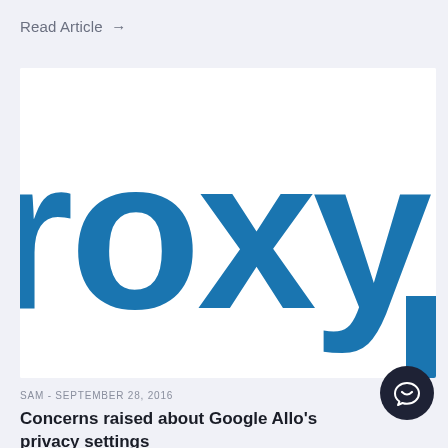Read Article →
[Figure (logo): Cropped logo showing 'roxy' text in large bold blue letters on white background, partially cut off on left and right edges, with a small blue vertical bar at bottom right]
SAM - SEPTEMBER 28, 2016
Concerns raised about Google Allo's privacy settings